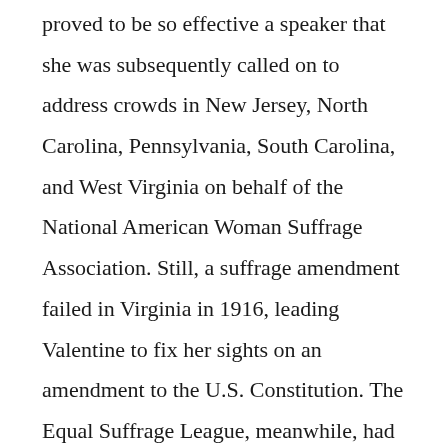proved to be so effective a speaker that she was subsequently called on to address crowds in New Jersey, North Carolina, Pennsylvania, South Carolina, and West Virginia on behalf of the National American Woman Suffrage Association. Still, a suffrage amendment failed in Virginia in 1916, leading Valentine to fix her sights on an amendment to the U.S. Constitution. The Equal Suffrage League, meanwhile, had joined forces with the National American Woman Suffrage Association, and over the years it continued to grow. In 1914, it reported